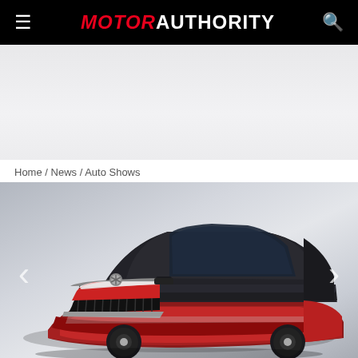MOTOR AUTHORITY
[Figure (screenshot): Gray advertisement placeholder area]
Home / News / Auto Shows
[Figure (photo): Mercedes-Maybach concept SUV in red and dark gray/black two-tone, front three-quarter view, with vertical grille slats and the Mercedes star logo, displayed on a light gray gradient background. Navigation arrows (< and >) are visible on left and right sides of the image.]